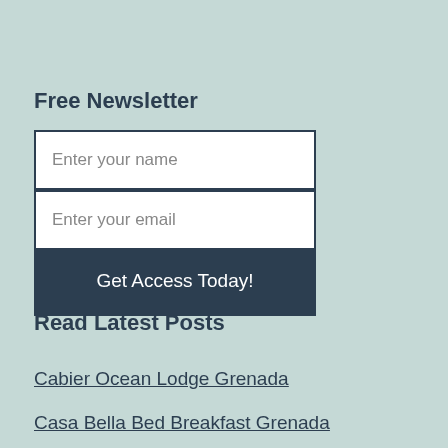Free Newsletter
[Figure (other): Newsletter signup form with 'Enter your name' text field, 'Enter your email' text field, and 'Get Access Today!' button]
Read Latest Posts
Cabier Ocean Lodge Grenada
Casa Bella Bed Breakfast Grenada